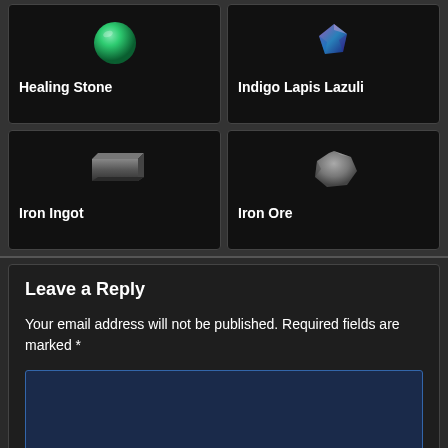[Figure (illustration): Healing Stone item card with green sphere icon]
Healing Stone
[Figure (illustration): Indigo Lapis Lazuli item card with purple-blue crystal icon]
Indigo Lapis Lazuli
[Figure (illustration): Iron Ingot item card with dark metallic ingot icon]
Iron Ingot
[Figure (illustration): Iron Ore item card with grey rock/ore icon]
Iron Ore
Leave a Reply
Your email address will not be published. Required fields are marked *
.